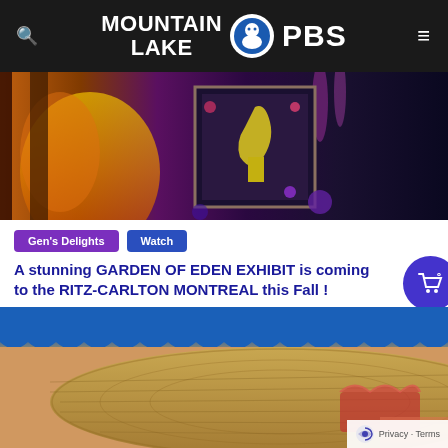Mountain Lake PBS
[Figure (photo): Dark colorful indoor exhibit scene with orange fire-like lighting on left and purple decorations, a framed poster in center, dark background]
Gen's Delights
Watch
A stunning GARDEN OF EDEN EXHIBIT is coming to the RITZ-CARLTON MONTREAL this Fall !
[Figure (photo): Outdoor market or festival scene with blue striped awning at top, a large woven straw hat in foreground, red decorative items and a person partially visible in background]